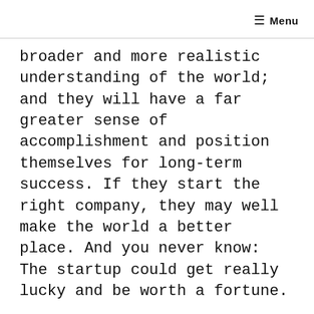≡ Menu
broader and more realistic understanding of the world; and they will have a far greater sense of accomplishment and position themselves for long-term success. If they start the right company, they may well make the world a better place. And you never know: The startup could get really lucky and be worth a fortune.
MBA heyday
It wasn't always this way. When I completed my MBA from New York